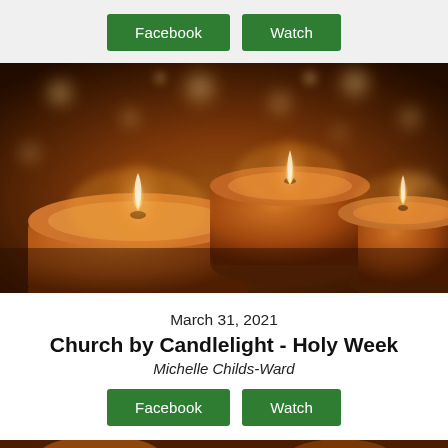[Figure (other): Two green buttons labeled Facebook and Watch at the top of the page]
[Figure (photo): Close-up photograph of several glowing orange tealight candles with warm bokeh background]
March 31, 2021
Church by Candlelight - Holy Week
Michelle Childs-Ward
[Figure (other): Two green buttons labeled Facebook and Watch below the title block]
[Figure (photo): Partial strip of a second candle photo at the bottom of the page]